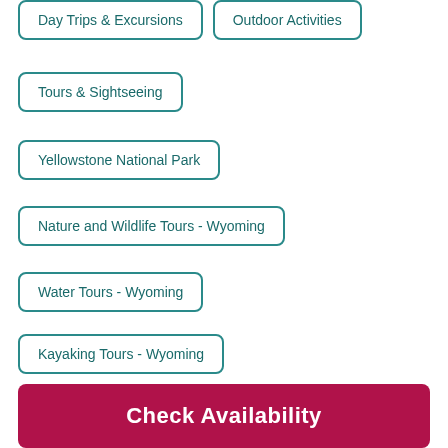Day Trips & Excursions
Outdoor Activities
Tours & Sightseeing
Yellowstone National Park
Nature and Wildlife Tours - Wyoming
Water Tours - Wyoming
Kayaking Tours - Wyoming
Day Trips - Wyoming
Half-day Tours - Wyoming
Go Outdoor...
Check Availability